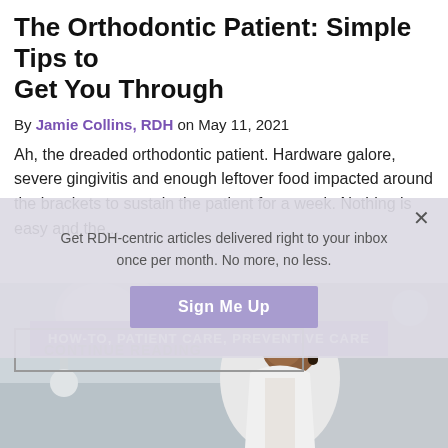The Orthodontic Patient: Simple Tips to Get You Through
By Jamie Collins, RDH on May 11, 2021
Ah, the dreaded orthodontic patient. Hardware galore, severe gingivitis and enough leftover food impacted around the brackets to sustain the patient for a week. Nothing is easy and the...
Get RDH-centric articles delivered right to your inbox once per month. No more, no less.
Sign Me Up
CONTINUE READING
HOW-TO, PATIENT CARE, PREVENTIVE CARE
[Figure (photo): A dental professional (woman) in a clinical setting, wearing a white coat, in a dental office with equipment visible in the background.]